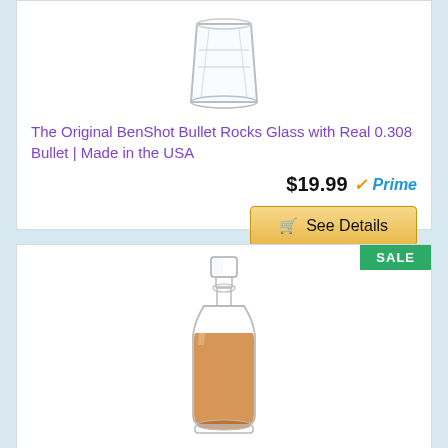[Figure (photo): A clear rocks glass (whiskey glass) product photo on white background]
The Original BenShot Bullet Rocks Glass with Real 0.308 Bullet | Made in the USA
$19.99 ✓Prime
🛒 See Details
SALE
[Figure (photo): A glass whiskey decanter with amber-colored liquid and a stopper, product photo on white background]